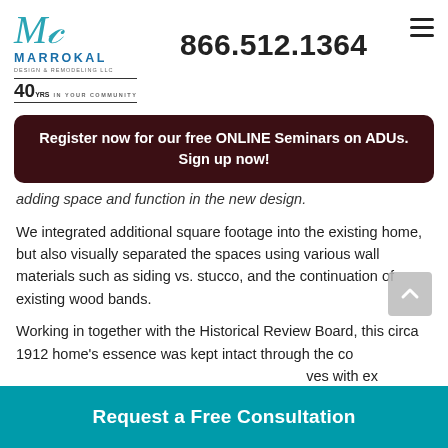[Figure (logo): Marrokal Design & Remodeling LLC logo with monogram M, teal color, and '40 years In Your Community' badge]
866.512.1364
Register now for our free ONLINE Seminars on ADUs. Sign up now!
adding space and function in the new design.
We integrated additional square footage into the existing home, but also visually separated the spaces using various wall materials such as siding vs. stucco, and the continuation of existing wood bands.
Working in together with the Historical Review Board, this circa 1912 home's essence was kept intact through the co... aves with ex... and
Request a Free Consultation